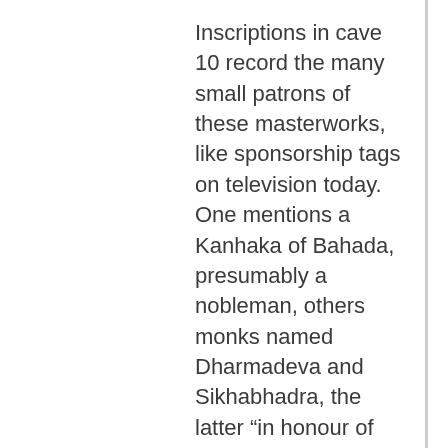Inscriptions in cave 10 record the many small patrons of these masterworks, like sponsorship tags on television today. One mentions a Kanhaka of Bahada, presumably a nobleman, others monks named Dharmadeva and Sikhabhadra, the latter “in honour of his mother and father”. This was a period not of royal but of community patronage, and appropriately the murals were a crowded, vibrant narrative art, teeming with people and alive with drama.
Cave 10 contains a supreme treasure that has only recently been identified: fragments of the oldest surviving painting of the life of the Buddha and